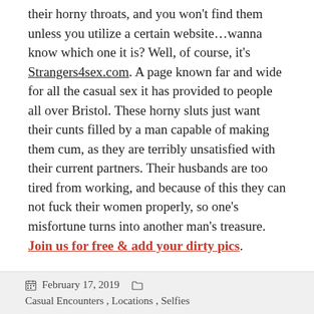their horny throats, and you won't find them unless you utilize a certain website…wanna know which one it is? Well, of course, it's Strangers4sex.com. A page known far and wide for all the casual sex it has provided to people all over Bristol. These horny sluts just want their cunts filled by a man capable of making them cum, as they are terribly unsatisfied with their current partners. Their husbands are too tired from working, and because of this they can not fuck their women properly, so one's misfortune turns into another man's treasure. Join us for free & add your dirty pics.
The treasure are these horny women and their tight wet pussies that you're going to claim with your strong cock. Make these Continue reading →
February 17, 2019   Casual Encounters, Locations, Selfies